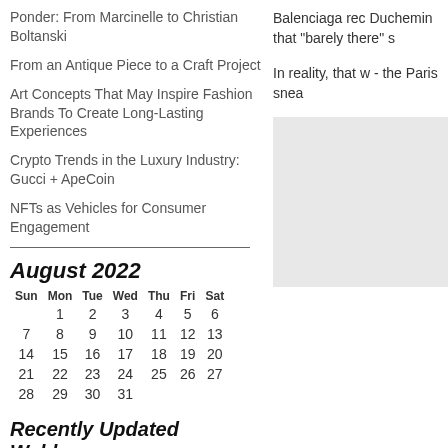Ponder: From Marcinelle to Christian Boltanski
From an Antique Piece to a Craft Project
Art Concepts That May Inspire Fashion Brands To Create Long-Lasting Experiences
Crypto Trends in the Luxury Industry: Gucci + ApeCoin
NFTs as Vehicles for Consumer Engagement
Balenciaga rec Duchemin that "barely there" s
In reality, that w - the Paris snea
August 2022
| Sun | Mon | Tue | Wed | Thu | Fri | Sat |
| --- | --- | --- | --- | --- | --- | --- |
|  | 1 | 2 | 3 | 4 | 5 | 6 |
| 7 | 8 | 9 | 10 | 11 | 12 | 13 |
| 14 | 15 | 16 | 17 | 18 | 19 | 20 |
| 21 | 22 | 23 | 24 | 25 | 26 | 27 |
| 28 | 29 | 30 | 31 |  |  |  |
Recently Updated Weblogs
□□□□□,□□□□□,□□□□,□□□□□□,□□□□□□,□□□□,□□□□□,□□□□,□□□□,□□□□ □'s blog
□□□□□□□,□□□□□□□,□□□□□□□,□□,□□,□buy,□□□□□□□,□□□□□□□ □□□□□□